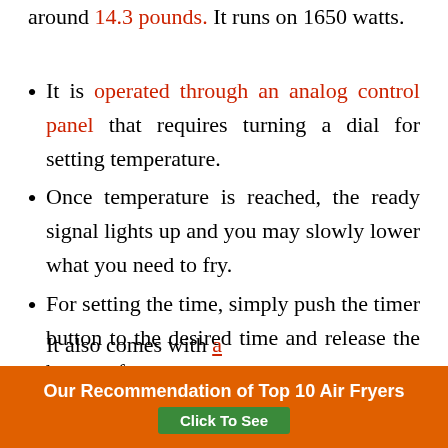around 14.3 pounds. It runs on 1650 watts.
It is operated through an analog control panel that requires turning a dial for setting temperature.
Once temperature is reached, the ready signal lights up and you may slowly lower what you need to fry.
For setting the time, simply push the timer button to the desired time and release the button after.
It also comes with...
Our Recommendation of Top 10 Air Fryers
Click To See